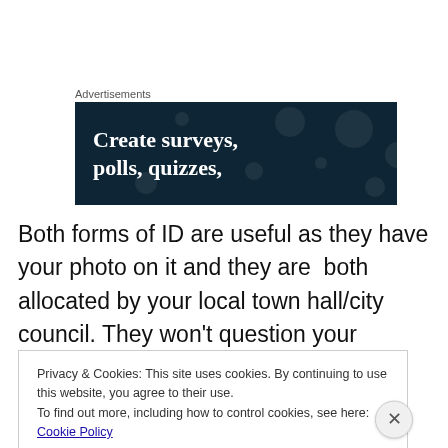[Figure (screenshot): Advertisement banner with dark navy background showing text 'Create surveys, polls, quizzes,' with decorative dots pattern]
Both forms of ID are useful as they have your photo on it and they are  both allocated by your local town hall/city council. They won't question your disability once you have
Privacy & Cookies: This site uses cookies. By continuing to use this website, you agree to their use.
To find out more, including how to control cookies, see here: Cookie Policy